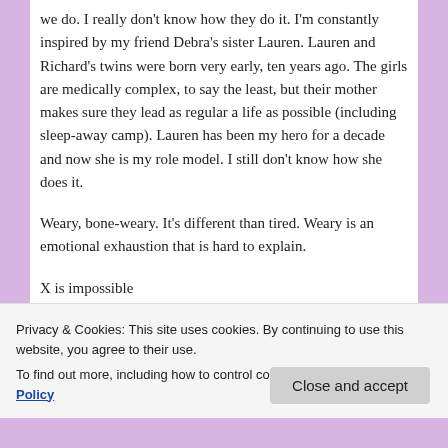we do. I really don't know how they do it. I'm constantly inspired by my friend Debra's sister Lauren. Lauren and Richard's twins were born very early, ten years ago. The girls are medically complex, to say the least, but their mother makes sure they lead as regular a life as possible (including sleep-away camp). Lauren has been my hero for a decade and now she is my role model. I still don't know how she does it.
Weary, bone-weary. It's different than tired. Weary is an emotional exhaustion that is hard to explain.
X is impossible
Yoga-mama. Okay, this isn't an emotion or an adjective. Yoga
Privacy & Cookies: This site uses cookies. By continuing to use this website, you agree to their use.
To find out more, including how to control cookies, see here: Cookie Policy